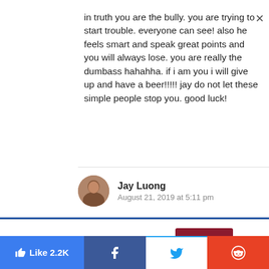in truth you are the bully. you are trying to start trouble. everyone can see! also he feels smart and speak great points and you will always lose. you are really the dumbass hahahha. if i am you i will give up and have a beer!!!!! jay do not let these simple people stop you. good luck!
Jay Luong
August 21, 2019 at 5:11 pm
This website uses cookies.
Like 2.2K